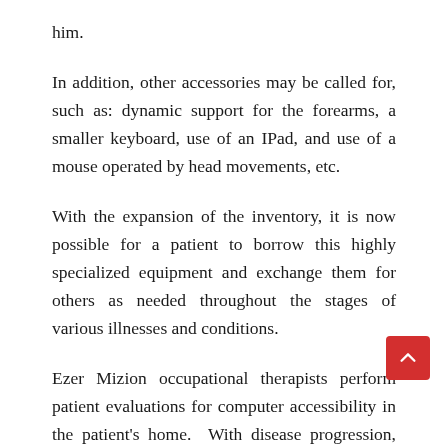him.
In addition, other accessories may be called for, such as: dynamic support for the forearms, a smaller keyboard, use of an IPad, and use of a mouse operated by head movements, etc.
With the expansion of the inventory, it is now possible for a patient to borrow this highly specialized equipment and exchange them for others as needed throughout the stages of various illnesses and conditions.
Ezer Mizion occupational therapists perform patient evaluations for computer accessibility in the patient’s home.  With disease progression, options are given for a renewed evaluation by Ezer Mizion’s occupational therapist, and based